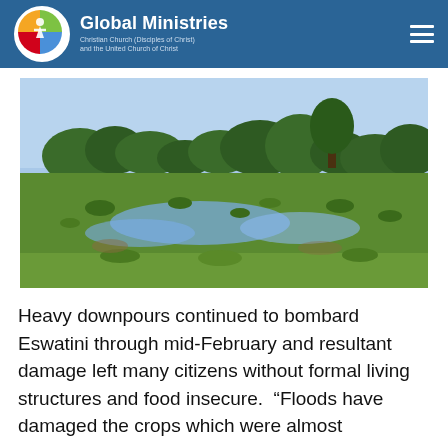Global Ministries — Christian Church (Disciples of Christ) and the United Church of Christ
[Figure (photo): Flooded wetland landscape with green grasses, standing water, and trees in the background under a clear blue sky, likely depicting flood damage in Eswatini.]
Heavy downpours continued to bombard Eswatini through mid-February and resultant damage left many citizens without formal living structures and food insecure. “Floods have damaged the crops which were almost